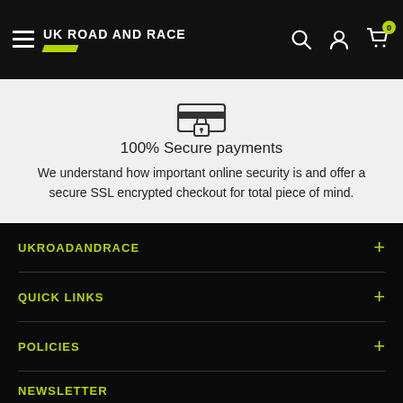UK ROAD AND RACE
[Figure (illustration): Secure payment icon: a card reader with a padlock symbol]
100% Secure payments
We understand how important online security is and offer a secure SSL encrypted checkout for total piece of mind.
UKROADANDRACE
QUICK LINKS
POLICIES
NEWSLETTER